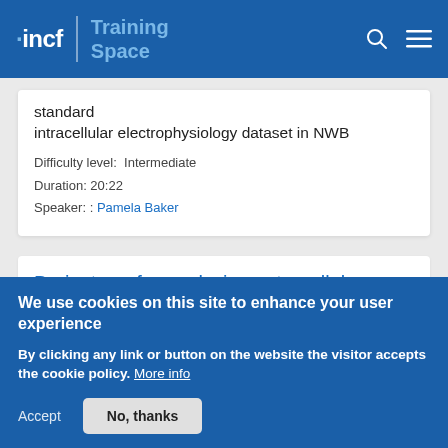INCF Training Space
standard
intracellular electrophysiology dataset in NWB

Difficulty level: Intermediate
Duration: 20:22
Speaker: : Pamela Baker
Brainstorm for analyzing extracellular electrophysiology data
We use cookies on this site to enhance your user experience

By clicking any link or button on the website the visitor accepts the cookie policy. More info
Accept   No, thanks